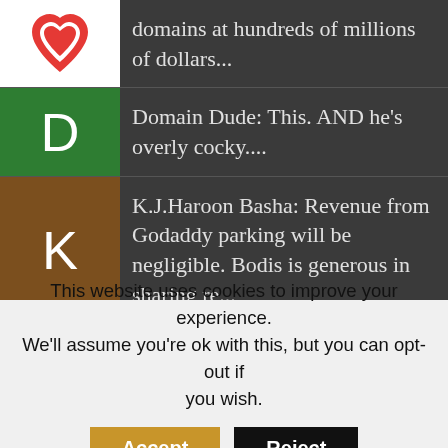domains at hundreds of millions of dollars...
Domain Dude: This. AND he’s overly cocky....
K.J.Haroon Basha: Revenue from Godaddy parking will be negligible. Bodis is generous in sharing re...
K.J.Haroon Basha: Revenue from Godaddy parking will be negligible. Bodis is generous in Sedo and G...
Spike: Is there a workaround to keep Bodis parking but link to Dan for sale page? I hav...
Domain Dude: GoDaddy can buy Dan.com for $75M, but still can’t design appealing...
This website uses cookies to improve your experience. We’ll assume you’re ok with this, but you can opt-out if you wish.
Accept
Reject